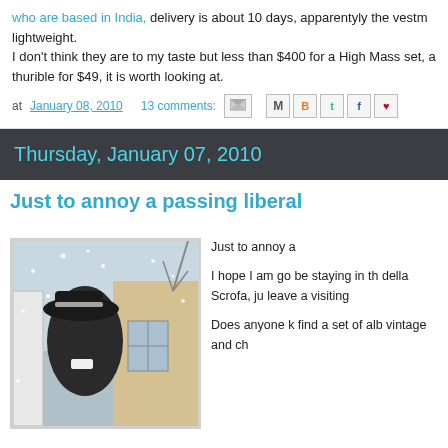who are based in India, delivery is about 10 days, apparentyly the vestm lightweight.
I don't think they are to my taste but less than $400 for a High Mass set, a thurible for $49, it is worth looking at.
at January 08, 2010   13 comments:
Thursday, January 07, 2010
Just to annoy a passing liberal
[Figure (photo): A person wearing a black wide-brimmed hat, seen from behind/profile, standing outside in snow with a brick building and snow-covered trees in the background.]
Just to annoy a

I hope I am go be staying in th della Scrofa, ju leave a visiting

Does anyone k find a set of alb vintage and ch